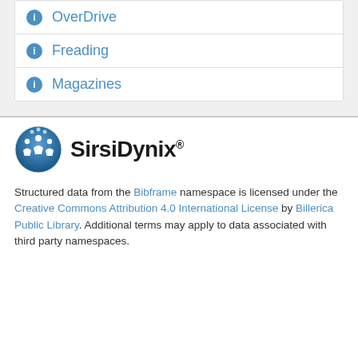OverDrive
Freading
Magazines
[Figure (logo): SirsiDynix logo with circular emblem and company name]
Structured data from the Bibframe namespace is licensed under the Creative Commons Attribution 4.0 International License by Billerica Public Library. Additional terms may apply to data associated with third party namespaces.